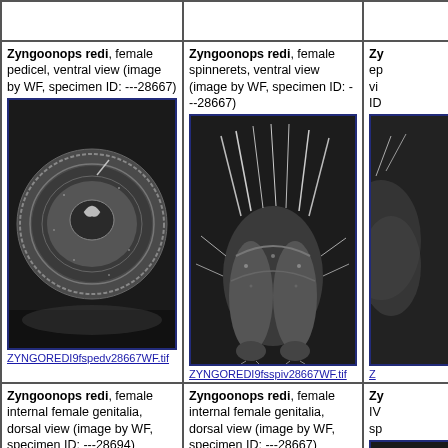| Column1 | Column2 | Column3 (partial) |
| --- | --- | --- |
| (empty/partial top row) | (empty/partial top row) | (partial) |
| Zyngoonops redi, female pedicel, ventral view (image by WF, specimen ID: ---28667)
ZYNGOREDI9fspedv28667WF.tif | Zyngoonops redi, female spinnerets, ventral view (image by WF, specimen ID: ---28667)
ZYNGOREDI9fsspiv28667WF.tif | Zy... (partial) |
| Zyngoonops redi, female internal female genitalia, dorsal view (image by WF, specimen ID: ---28694) | Zyngoonops redi, female internal female genitalia, dorsal view (image by WF, specimen ID: ---28667) | Zy... M... sp... (partial) |